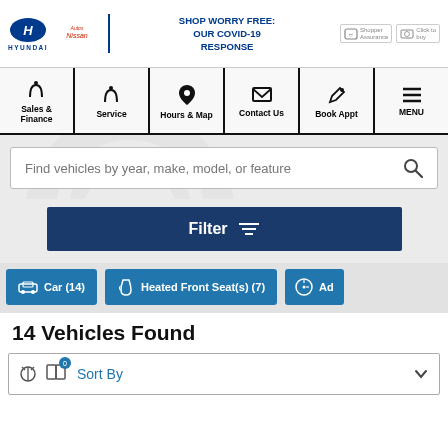SHOP WORRY FREE: OUR COVID-19 RESPONSE | Hyundai | Shopper Assurance | Click to buy
[Figure (screenshot): Navigation bar with icons for Sales & Finance, Service, Hours & Map, Contact Us, Book Appt, and MENU]
[Figure (screenshot): Search box with placeholder text: Find vehicles by year, make, model, or feature]
[Figure (screenshot): Dark blue Filter button]
[Figure (screenshot): Filter chips: Car (14), Heated Front Seat(s) (7), and a partially visible third chip]
14 Vehicles Found
Sort By